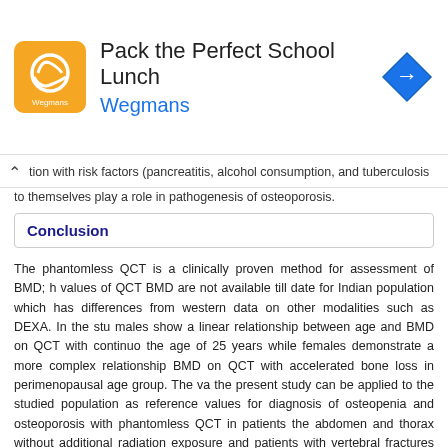[Figure (other): Advertisement banner for Wegmans 'Pack the Perfect School Lunch' with orange logo and navigation arrow icon]
tion with risk factors (pancreatitis, alcohol consumption, and tuberculosis) to themselves play a role in pathogenesis of osteoporosis.
Conclusion
The phantomless QCT is a clinically proven method for assessment of BMD; h values of QCT BMD are not available till date for Indian population which has differences from western data on other modalities such as DEXA. In the stu males show a linear relationship between age and BMD on QCT with continuo the age of 25 years while females demonstrate a more complex relationship BMD on QCT with accelerated bone loss in perimenopausal age group. The va the present study can be applied to the studied population as reference values for diagnosis of osteopenia and osteoporosis with phantomless QCT in patients the abdomen and thorax without additional radiation exposure and patients with vertebral fractures can be identified.
Limitations of study